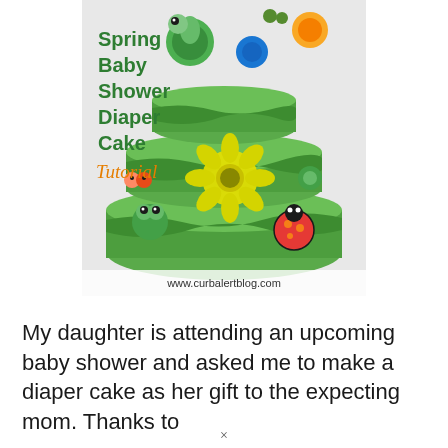[Figure (photo): Photo of a Spring Baby Shower Diaper Cake Tutorial — a layered diaper cake decorated with green ribbon, stuffed animal turtles, frog toys, ladybug toys, yellow flower decorations, and colorful spring-themed figures. Text overlay reads 'Spring Baby Shower Diaper Cake Tutorial' in green and orange script. Website watermark: www.curbalertblog.com]
My daughter is attending an upcoming baby shower and asked me to make a diaper cake as her gift to the expecting mom. Thanks to